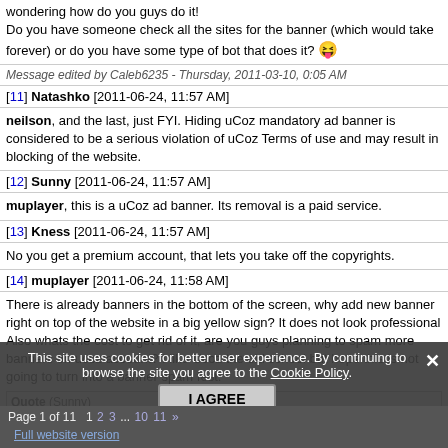wondering how do you guys do it! Do you have someone check all the sites for the banner (which would take forever) or do you have some type of bot that does it? 😝
Message edited by Caleb6235 - Thursday, 2011-03-10, 0:05 AM
[11] Natashko [2011-06-24, 11:57 AM]
neilson, and the last, just FYI. Hiding uCoz mandatory ad banner is considered to be a serious violation of uCoz Terms of use and may result in blocking of the website.
[12] Sunny [2011-06-24, 11:57 AM]
muplayer, this is a uCoz ad banner. Its removal is a paid service.
[13] Kness [2011-06-24, 11:57 AM]
No you get a premium account, that lets you take off the copyrights.
[14] muplayer [2011-06-24, 11:58 AM]
There is already banners in the bottom of the screen, why add new banner right on top of the website in a big yellow sign? It does not look professional
Also whats the cost to get rid of it, are you guys planning to spam more banners on ucoz account? I like Ucoz the old school but hope this is not going to turn into a banner spam fest.
Quote (Sunny)
muplayer, this is a uCoz ad banner. Its removal is a paid service.
[15] runakter [2011-06-24, 11:58 AM]
Caleb6235, Buy A Premium Account.
CP>Paid Services($)>Paid Services To Buy One
And You Can Change Banner Type On This : http://hugesoft.tk/panel/?a=bantype
Page 1 of 11   1 2 3 ... 10 11 »
This site uses cookies for better user experience. By continuing to browse the site you agree to the Cookie Policy.
I AGREE
Full website version